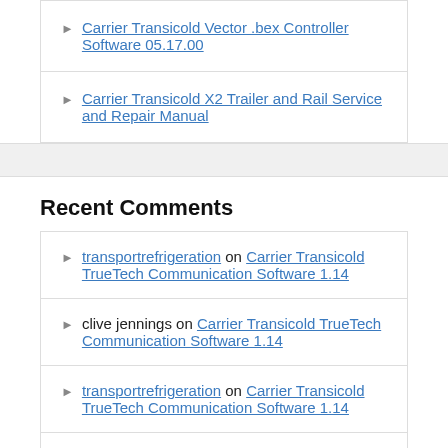Carrier Transicold Vector .bex Controller Software 05.17.00
Carrier Transicold X2 Trailer and Rail Service and Repair Manual
Recent Comments
transportrefrigeration on Carrier Transicold TrueTech Communication Software 1.14
clive jennings on Carrier Transicold TrueTech Communication Software 1.14
transportrefrigeration on Carrier Transicold TrueTech Communication Software 1.14
clive jennings on Carrier Transicold TrueTech Communication Software 1.14